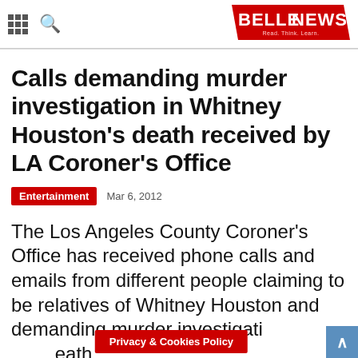BELLENEWS — Read. Think. Learn.
Calls demanding murder investigation in Whitney Houston's death received by LA Coroner's Office
Entertainment   Mar 6, 2012
The Los Angeles County Coroner's Office has received phone calls and emails from different people claiming to be relatives of Whitney Houston and demanding murder investigati…eath.
Privacy & Cookies Policy